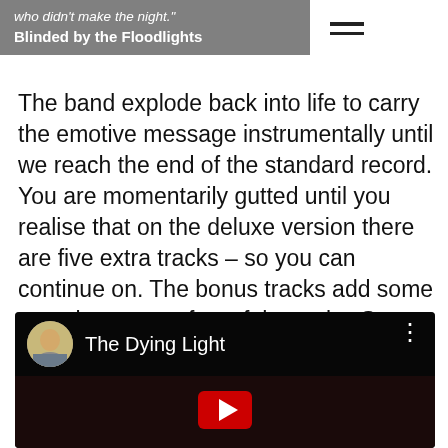who didn't make the night."
Blinded by the Floodlights
The band explode back into life to carry the emotive message instrumentally until we reach the end of the standard record. You are momentarily gutted until you realise that on the deluxe version there are five extra tracks – so you can continue on. The bonus tracks add some extra layers to a few of the topics Sam has explored, such as love and loss.
[Figure (screenshot): YouTube video thumbnail showing 'The Dying Light' with a circular avatar of a person on the left, the title text in white, a three-dot menu icon on the right, and a dark video area below with a red YouTube play button.]